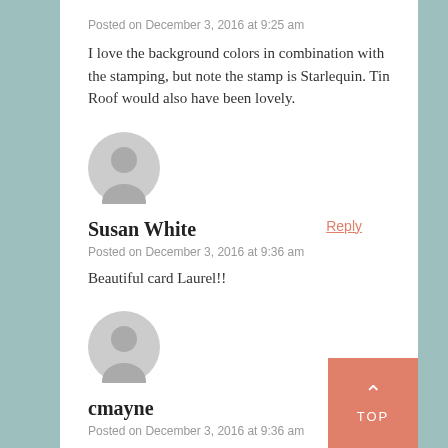Posted on December 3, 2016 at 9:25 am
I love the background colors in combination with the stamping, but note the stamp is Starlequin. Tin Roof would also have been lovely.
[Figure (illustration): Default grey avatar icon for Susan White]
Susan White
Reply
Posted on December 3, 2016 at 9:36 am
Beautiful card Laurel!!
[Figure (illustration): Default grey avatar icon for cmayne]
cmayne
Posted on December 3, 2016 at 9:36 am
A beautiful transformation of Tin Roof into a Christmas card; such gorgeous colours and lovely shimmer! Thank you